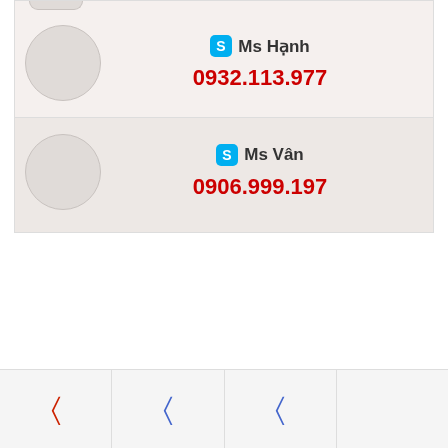[Figure (other): Contact card with two entries: Ms Hanh with phone 0932.113.977 and Ms Van with phone 0906.999.197, each with a circular avatar placeholder and Skype icon. Below is white space and a bottom navigation bar with three tab icons.]